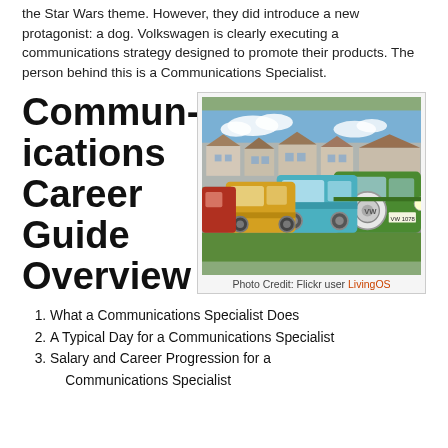the Star Wars theme. However, they did introduce a new protagonist: a dog. Volkswagen is clearly executing a communications strategy designed to promote their products. The person behind this is a Communications Specialist.
Communications Career Guide Overview
[Figure (photo): A row of colorful vintage Volkswagen vans (camper buses) parked on grass with houses in the background. Vans visible in yellow, teal/blue, and green. Photo Credit: Flickr user LivingOS]
Photo Credit: Flickr user LivingOS
What a Communications Specialist Does
A Typical Day for a Communications Specialist
Salary and Career Progression for a Communications Specialist